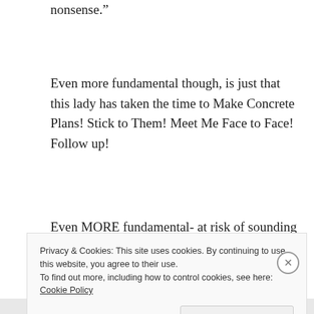nonsense."
Even more fundamental though, is just that this lady has taken the time to Make Concrete Plans! Stick to Them! Meet Me Face to Face! Follow up!
Even MORE fundamental- at risk of sounding pathetic – it actually warms the cockles of my lil heart that she
Privacy & Cookies: This site uses cookies. By continuing to use this website, you agree to their use.
To find out more, including how to control cookies, see here: Cookie Policy
Close and accept
AIRPORT 11:52 AM